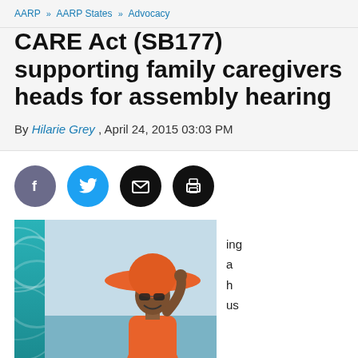AARP » AARP States » Advocacy
CARE Act (SB177) supporting family caregivers heads for assembly hearing
By Hilarie Grey , April 24, 2015 03:03 PM
[Figure (infographic): Social sharing icons: Facebook (purple circle), Twitter (blue circle), Email (black circle), Print (black circle)]
[Figure (photo): Partially visible photo of a smiling woman wearing a large orange sun hat and sunglasses, at the beach. Teal decorative sidebar on left. Text snippet partially visible on right side showing partial words ending in -ing, a, -ch, us]